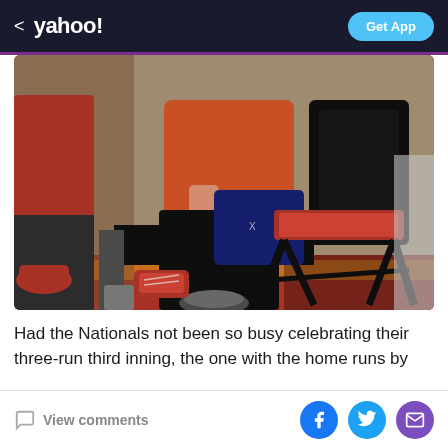< yahoo! | Get App
[Figure (photo): A person seated in a black folding chair with a red cushion, wearing black leggings and a red/orange top. Red cleats visible on the floor. Colorful patterned floor in background with other people standing around.]
Had the Nationals not been so busy celebrating their three-run third inning, the one with the home runs by ...
View comments | Facebook share | Twitter share | Email share